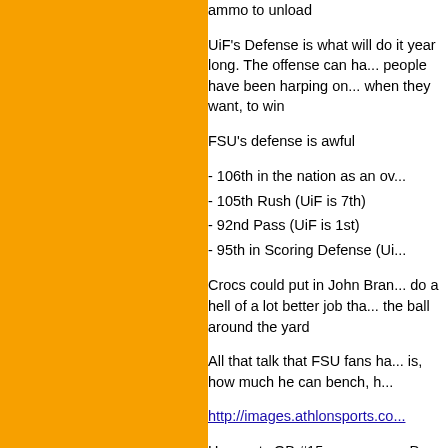ammo to unload
UiF's Defense is what will do it year long. The offense can ha... people have been harping on... when they want, to win
FSU's defense is awful
- 106th in the nation as an ov...
- 105th Rush (UiF is 7th)
- 92nd Pass (UiF is 1st)
- 95th in Scoring Defense (Ui...
Crocs could put in John Bran... do a hell of a lot better job tha... the ball around the yard
All that talk that FSU fans ha... is, how much he can bench, h...
http://images.athlonsports.co...
He meets QB #15 one-on-on... D, that's simply not enough. h... smack last year and then pro...